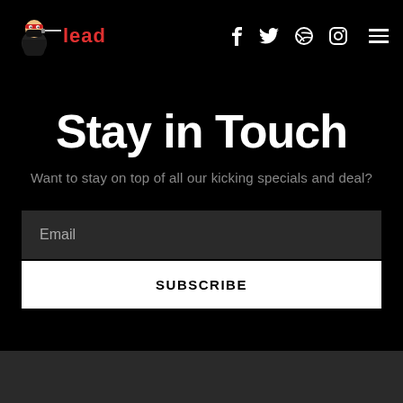[Figure (logo): Ninja character mascot logo with red 'lead' text beside it]
Stay in Touch
Want to stay on top of all our kicking specials and deal?
Email
SUBSCRIBE